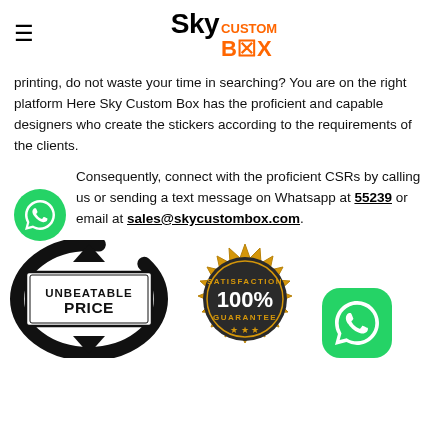Sky Custom Box — logo with hamburger menu
printing, do not waste your time in searching? You are on the right platform Here Sky Custom Box has the proficient and capable designers who create the stickers according to the requirements of the clients.
Consequently, connect with the proficient CSRs by calling us or sending a text message on Whatsapp at (number)55239 or email at sales@skycustombox.com.
[Figure (logo): Unbeatable Price stamp logo in black]
[Figure (logo): Satisfaction 100% Guarantee gold badge]
[Figure (logo): WhatsApp green icon bottom right corner]